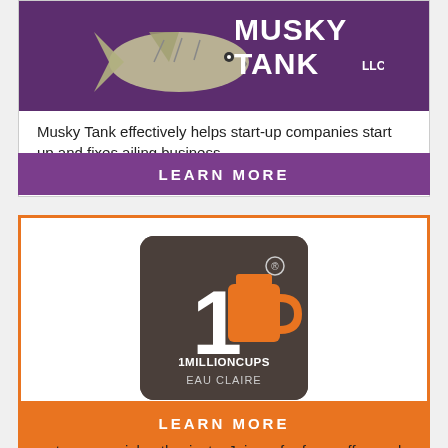[Figure (logo): Musky Tank LLC logo with fish illustration on purple background]
Musky Tank effectively helps start-up companies start up and fixes ailing business.
LEARN MORE
[Figure (logo): 1 Million Cups Eau Claire logo - brown rounded square with orange coffee cup and number 1]
Free weekly meet up for entrepreneurs and entrepreneurial enthusiasts. Join us for free coffee and a presentation from an entrepreneur!
LEARN MORE